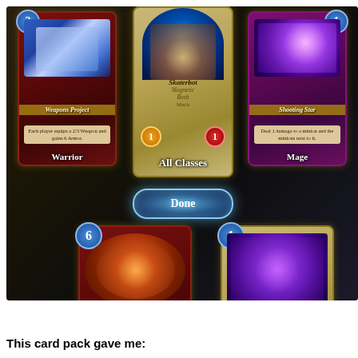[Figure (screenshot): Screenshot of a Hearthstone card pack opening showing 5 cards: Weapons Project (2-cost Warrior spell), Skaterbot (1/1 Magnetic Rush Mech for All Classes), Shooting Star (1-cost Mage spell), Security Rover (6-cost 2/6 Mech Warrior minion), and Cloning Device (1-cost Priest spell). A 'Done' button is visible in the center.]
This card pack gave me: